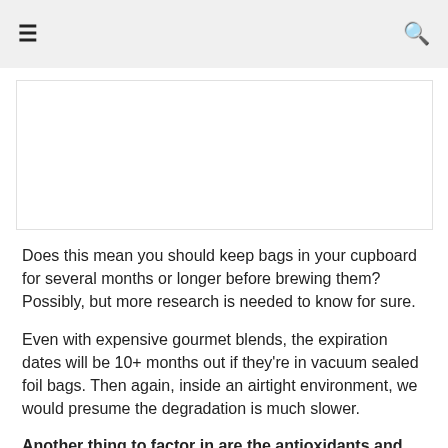☰  🔍
[Figure (photo): White/blank image placeholder area]
Does this mean you should keep bags in your cupboard for several months or longer before brewing them? Possibly, but more research is needed to know for sure.
Even with expensive gourmet blends, the expiration dates will be 10+ months out if they're in vacuum sealed foil bags. Then again, inside an airtight environment, we would presume the degradation is much slower.
Another thing to factor in are the antioxidants and how those too may also degrade with time. As you likely know, those are the health benefit of drinking this every morning. In fact, it's been found to affect the potency of a number of